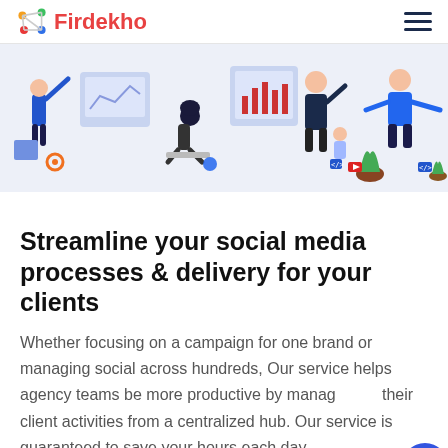Firdekho
[Figure (illustration): Hero banner illustration showing multiple people working on social media and digital marketing tasks. People with laptops, charts, plants, and digital icons on a light blue/grey background.]
Streamline your social media processes & delivery for your clients
Whether focusing on a campaign for one brand or managing social across hundreds, Our service helps agency teams be more productive by managing all their client activities from a centralized hub. Our service is guaranteed to save your hours each day